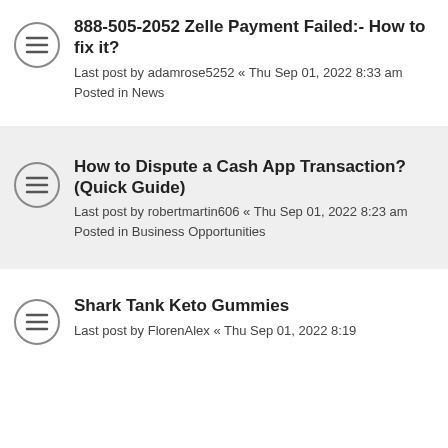888-505-2052 Zelle Payment Failed:- How to fix it?
Last post by adamrose5252 « Thu Sep 01, 2022 8:33 am
Posted in News
How to Dispute a Cash App Transaction? (Quick Guide)
Last post by robertmartin606 « Thu Sep 01, 2022 8:23 am
Posted in Business Opportunities
Shark Tank Keto Gummies
Last post by FlorenAlex « Thu Sep 01, 2022 8:19